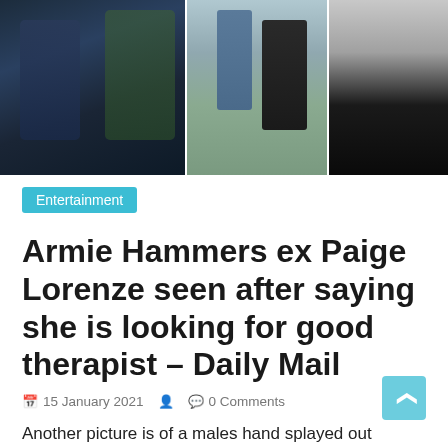[Figure (photo): Three paparazzi-style photos side by side showing people outdoors and near a vehicle]
Entertainment
Armie Hammers ex Paige Lorenze seen after saying she is looking for good therapist – Daily Mail
15 January 2021   0 Comments
Another picture is of a males hand splayed out across a script on a wood table, and professes to have actually been sent from Hammers Instagram account in an undated message. Noticeable on the guys ring finger is